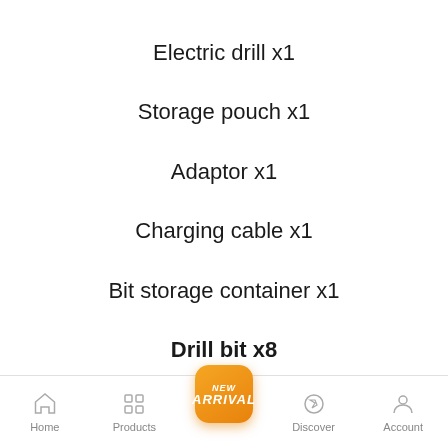Electric drill x1
Storage pouch x1
Adaptor x1
Charging cable x1
Bit storage container x1
Drill bit x8
Home  Products  [New Arrival]  Discover  Account